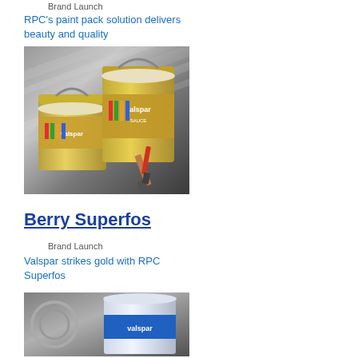Brand Launch
RPC's paint pack solution delivers beauty and quality
[Figure (photo): Two gold Valspar paint cans with brushes on a metallic background]
Berry Superfos
Brand Launch
Valspar strikes gold with RPC Superfos
[Figure (photo): Valspar paint container with blue label on grey background, partially cropped]